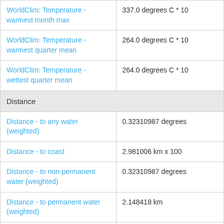| Variable | Value |
| --- | --- |
| WorldClim: Temperature - warmest month max | 337.0 degrees C * 10 |
| WorldClim: Temperature - warmest quarter mean | 264.0 degrees C * 10 |
| WorldClim: Temperature - wettest quarter mean | 264.0 degrees C * 10 |
| Distance |  |
| Distance - to any water (weighted) | 0.32310987 degrees |
| Distance - to coast | 2.981006 km x 100 |
| Distance - to non-permanent water (weighted) | 0.32310987 degrees |
| Distance - to permanent water (weighted) | 2.148418 km |
| Euclidean Distance to Coast (metres) | 441958.06 m |
| Remoteness index | 17.615084 |
| Hydrology |  |